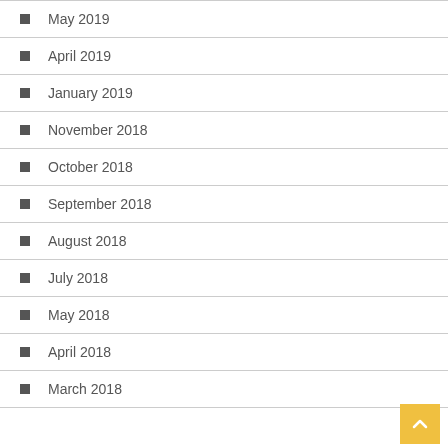May 2019
April 2019
January 2019
November 2018
October 2018
September 2018
August 2018
July 2018
May 2018
April 2018
March 2018